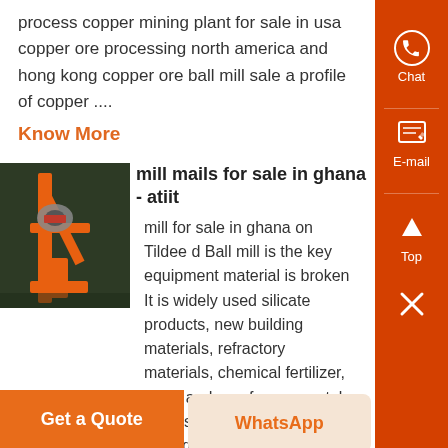process copper mining plant for sale in usa copper ore processing north america and hong kong copper ore ball mill sale a profile of copper ....
Know More
mill mails for sale in ghana - atiit
[Figure (photo): Industrial machinery with orange metal frame and mechanical components]
mill for sale in ghana on Tildee d Ball mill is the key equipment material is broken It is widely used silicate products, new building materials, refractory materials, chemical fertilizer, black and non-ferrous metal processing, glass, ceramics etc industry
Get a Quote
WhatsApp